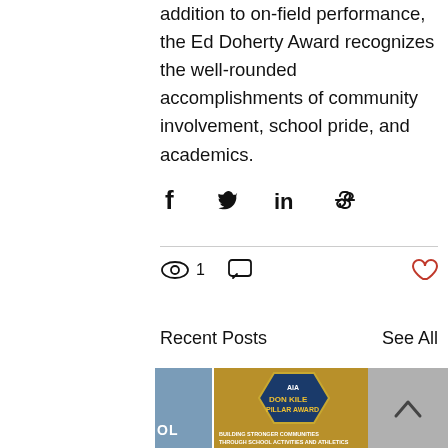addition to on-field performance, the Ed Doherty Award recognizes the well-rounded accomplishments of community involvement, school pride, and academics.
[Figure (infographic): Social share icons row: Facebook, Twitter, LinkedIn, and link/chain icon]
[Figure (infographic): Engagement stats row: eye/view icon with count 1, comment icon, and heart/like icon (red outline) on the right]
Recent Posts
See All
[Figure (photo): Partial left blue-toned post thumbnail with 'OL' text visible]
[Figure (photo): AIA Don Kile Pillar Award promotional image with a man smiling, red cross logo, National Sports Foundation logo, AIA logo, Grand Canyon Inn logo. Text: BUILDING STRONGER COMMUNITIES THROUGH SCHOOL ACTIVITIES AND ATHLETICS. RETURNING TO THE FUNDAMENTAL MISSION OF PUBLIC SCHOOLS.]
[Figure (infographic): Scroll-to-top button with upward arrow chevron on grey background]